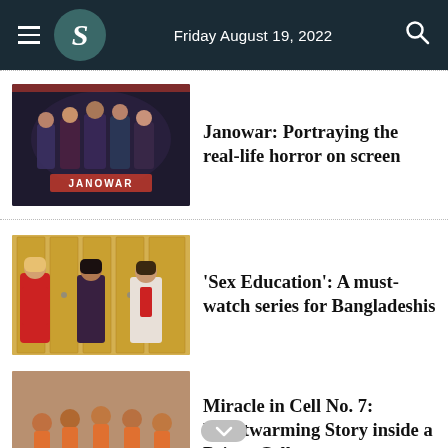Friday August 19, 2022
[Figure (photo): Movie poster for Janowar showing group of characters]
Janowar: Portraying the real-life horror on screen
[Figure (photo): Three young people standing in front of school lockers, scene from Sex Education]
‘Sex Education’: A must-watch series for Bangladeshis
[Figure (photo): Group of people in orange prison uniforms, scene from Miracle in Cell No. 7]
Miracle in Cell No. 7: Heartwarming Story inside a Prison Cell